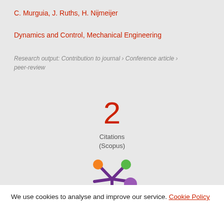C. Murguia, J. Ruths, H. Nijmeijer
Dynamics and Control, Mechanical Engineering
Research output: Contribution to journal › Conference article › peer-review
2
Citations
(Scopus)
[Figure (logo): Altmetric logo: a purple snowflake/asterisk shape with orange, green, and purple colored dots at the ends of branches]
We use cookies to analyse and improve our service. Cookie Policy